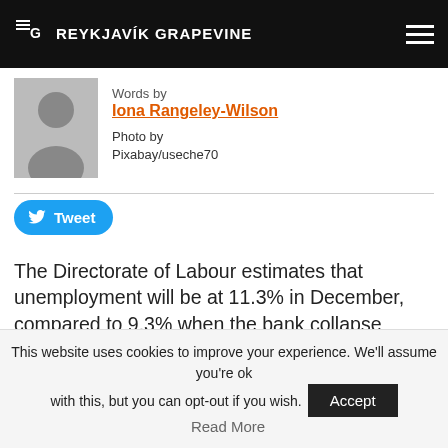THE REYKJAVIK GRAPEVINE
Words by
Iona Rangeley-Wilson
Photo by
Pixabay/useche70
Tweet
The Directorate of Labour estimates that unemployment will be at 11.3% in December, compared to 9.3% when the bank collapse peaked in February and March 2009, Kjarninn reported over the weekend. This was stated in a new monthly report from the Directorate of Labour, and is a result of the job losses that have taken place due to the corona crisis in Tourism, but the new circular had
This website uses cookies to improve your experience. We'll assume you're ok with this, but you can opt-out if you wish.  Accept  Read More